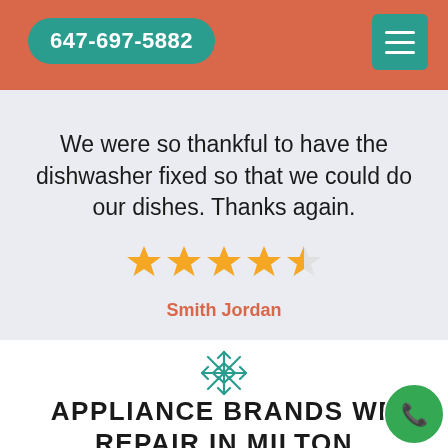647-697-5882
We were so thankful to have the dishwasher fixed so that we could do our dishes. Thanks again.
[Figure (other): 4.5 star rating shown with orange/gold stars]
Smith Jordan
[Figure (illustration): Teal snowflake icon]
APPLIANCE BRANDS WE REPAIR IN MILTON